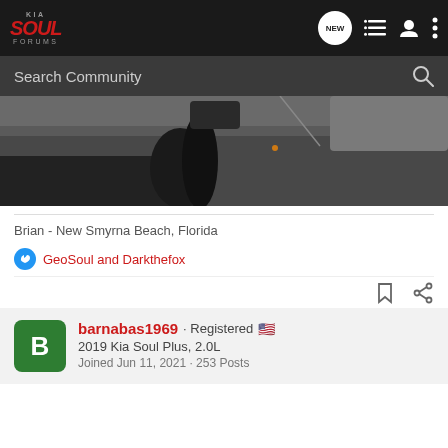Kia Soul Forums — navigation bar with logo, NEW button, list icon, user icon, more icon
Search Community
[Figure (photo): Close-up photo of a car's dashboard/windshield area, showing dark interior trim, antenna, and partial windshield in muted gray tones.]
Brian - New Smyrna Beach, Florida
GeoSoul and Darkthefox
barnabas1969 · Registered 🇺🇸
2019 Kia Soul Plus, 2.0L
Joined Jun 11, 2021 · 253 Posts